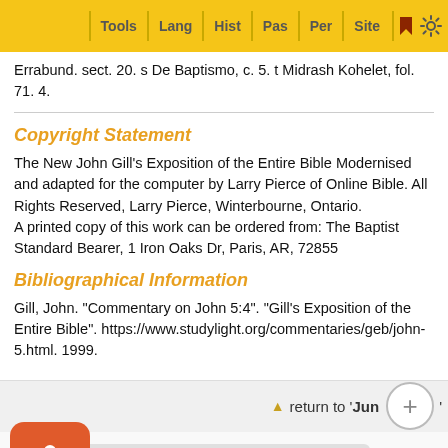Tools | Lang | Hist | Pas | Per | Site
Errabund. sect. 20. s De Baptismo, c. 5. t Midrash Kohelet, fol. 71. 4.
Copyright Statement
The New John Gill's Exposition of the Entire Bible Modernised and adapted for the computer by Larry Pierce of Online Bible. All Rights Reserved, Larry Pierce, Winterbourne, Ontario.
A printed copy of this work can be ordered from: The Baptist Standard Bearer, 1 Iron Oaks Dr, Paris, AR, 72855
Bibliographical Information
Gill, John. "Commentary on John 5:4". "Gill's Exposition of the Entire Bible". https://www.studylight.org/commentaries/geb/john-5.html. 1999.
return to 'Jun...'